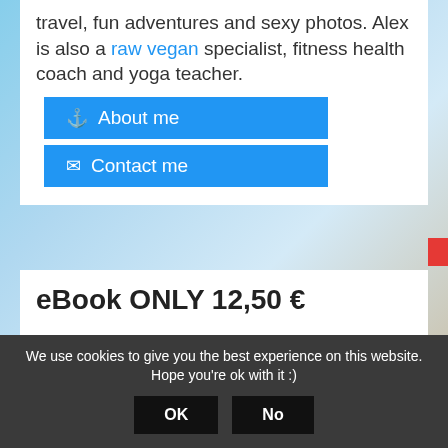travel, fun adventures and sexy photos. Alex is also a raw vegan specialist, fitness health coach and yoga teacher.
[Figure (other): Blue button with anchor icon labeled 'About me']
[Figure (other): Blue button with envelope icon labeled 'Contact me']
eBook ONLY 12,50 €
[Figure (illustration): Book cover showing 'How to be FIT (not only) when traveling' with a 100% money back guarantee badge]
We use cookies to give you the best experience on this website. Hope you're ok with it :)